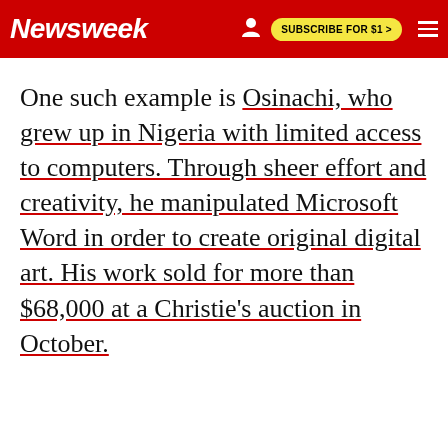Newsweek | SUBSCRIBE FOR $1 >
One such example is Osinachi, who grew up in Nigeria with limited access to computers. Through sheer effort and creativity, he manipulated Microsoft Word in order to create original digital art. His work sold for more than $68,000 at a Christie's auction in October.